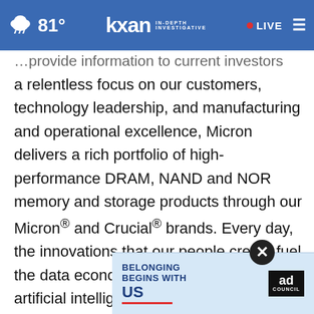KXAN | IN-DEPTH INVESTIGATIVE | 81° | LIVE
…provide information to current investors with a relentless focus on our customers, technology leadership, and manufacturing and operational excellence, Micron delivers a rich portfolio of high-performance DRAM, NAND and NOR memory and storage products through our Micron® and Crucial® brands. Every day, the innovations that our people create fuel the data economy, enabling advances in artificial intelligence and 5G applications that unleash opportunities… intelligent edge and across the client and
[Figure (screenshot): Advertisement banner: 'BELONGING BEGINS WITH US' with Ad Council logo on a light blue background]